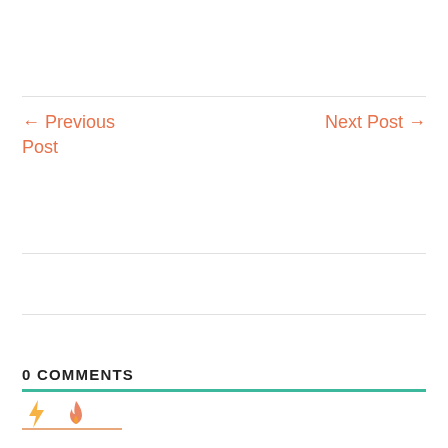← Previous Post
Next Post →
0 COMMENTS